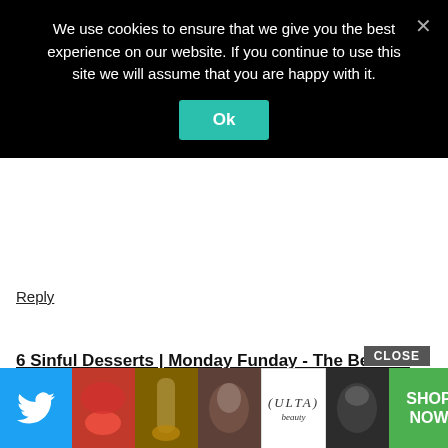We use cookies to ensure that we give you the best experience on our website. If you continue to use this site we will assume that you are happy with it.
Ok
Reply
6 Sinful Desserts | Monday Funday - The Benson Street says:
April 2, 2017 at 5:00 pm
[…] shared my next book in the Extreme Book Nerd Challenge. It is called Life After Theft. It wasn't my favorite, but I've got something else for […]
[Figure (screenshot): Bottom advertisement bar with Twitter bird icon on left, beauty/makeup product images in the center including an ULTA logo, a green SHOP NOW button, and a settings icon on the right. A CLOSE button appears above the image strip.]